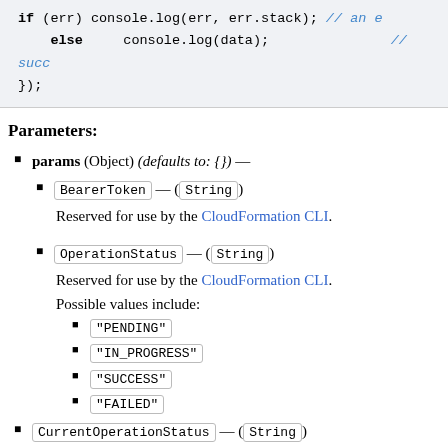[Figure (screenshot): Code block showing: if (err) console.log(err, err.stack); // an e
    else     console.log(data);                  // succ
});]
Parameters:
params (Object) (defaults to: {}) —
BearerToken — (String)
Reserved for use by the CloudFormation CLI.
OperationStatus — (String)
Reserved for use by the CloudFormation CLI.
Possible values include:
"PENDING"
"IN_PROGRESS"
"SUCCESS"
"FAILED"
CurrentOperationStatus — (String)